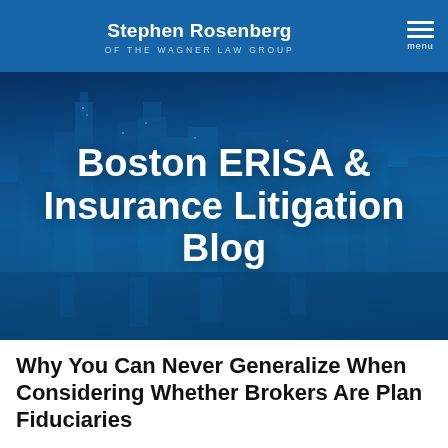Stephen Rosenberg OF THE WAGNER LAW GROUP
[Figure (illustration): Boston ERISA & Insurance Litigation Blog banner with blue-tinted cityscape of Boston in the background and white bold text overlay reading 'Boston ERISA & Insurance Litigation Blog']
Why You Can Never Generalize When Considering Whether Brokers Are Plan Fiduciaries